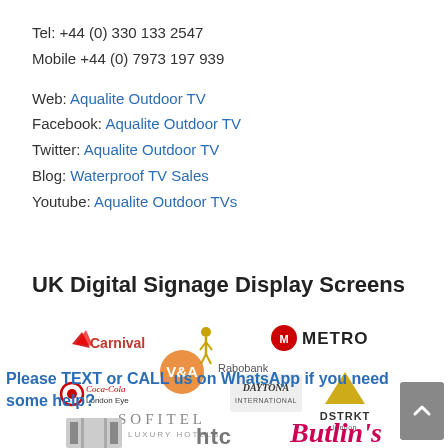Tel: +44 (0) 330 133 2547
Mobile +44 (0) 7973 197 939
Web: Aqualite Outdoor TV
Facebook: Aqualite Outdoor TV
Twitter: Aqualite Outdoor TV
Blog: Waterproof TV Sales
Youtube: Aqualite Outdoor TVs
UK Digital Signage Display Screens
[Figure (logo): Collection of client/brand logos including Carnival, Metro, Coca-Cola London Eye, V&A, Rabobank, Daytona, DSTRKT, Sofitel Luxury Hotels, Butlin's, HTC, and others]
Please TEXT or CALL us on WhatsApp if you need some help?